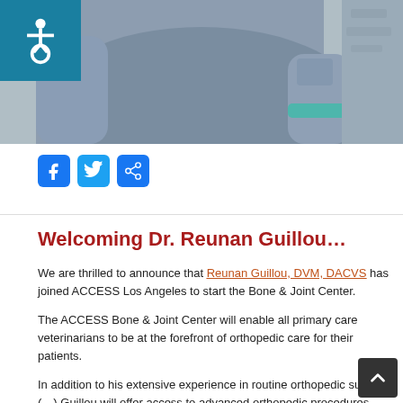[Figure (photo): Photo of a person in gray scrubs, partial view of torso and arms, with a teal wristband. Accessibility icon in top-left corner.]
[Figure (infographic): Social sharing buttons: Facebook, Twitter, Share]
Welcoming Dr. Reunan Guillou…
We are thrilled to announce that Reunan Guillou, DVM, DACVS has joined ACCESS Los Angeles to start the Bone & Joint Center.
The ACCESS Bone & Joint Center will enable all primary care veterinarians to be at the forefront of orthopedic care for their patients.
In addition to his extensive experience in routine orthopedic surgery (…) Guillou will offer access to advanced orthopedic procedures including (…) the biometically advanced…